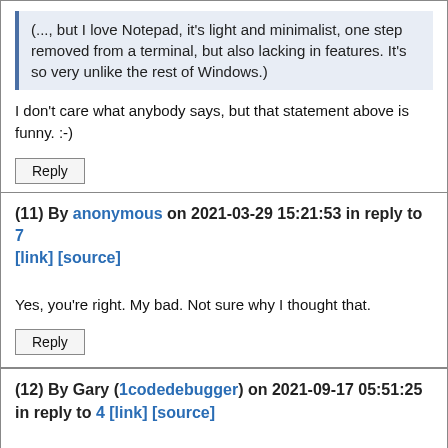(..., but I love Notepad, it's light and minimalist, one step removed from a terminal, but also lacking in features. It's so very unlike the rest of Windows.)
I don't care what anybody says, but that statement above is funny. :-)
Reply
(11) By anonymous on 2021-03-29 15:21:53 in reply to 7 [link] [source]
Yes, you're right. My bad. Not sure why I thought that.
Reply
(12) By Gary (1codedebugger) on 2021-09-17 05:51:25 in reply to 4 [link] [source]
I realize this is a bit old now but I think I understand what you